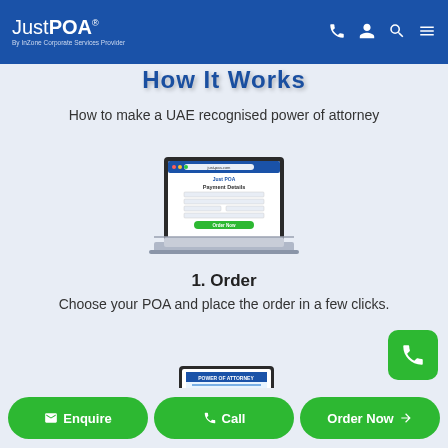JustPOA® By InZone Corporate Services Provider
How It Works
How to make a UAE recognised power of attorney
[Figure (screenshot): Laptop showing a JustPOA payment details form with an Order Now button]
1. Order
Choose your POA and place the order in a few clicks.
[Figure (illustration): Person typing on a laptop with a power of attorney document, coffee cup, and pen on desk]
Enquire | Call | Order Now